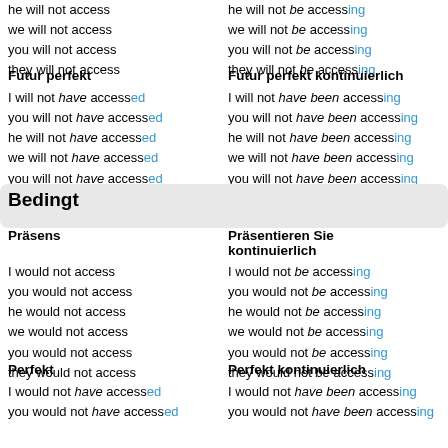he will not access
we will not access
you will not access
they will not access
he will not be accessing
we will not be accessing
you will not be accessing
they will not be accessing
Futur perfekt
Futur perfekt kontinuierlich
I will not have accessed
you will not have accessed
he will not have accessed
we will not have accessed
you will not have accessed
they will not have accessed
I will not have been accessing
you will not have been accessing
he will not have been accessing
we will not have been accessing
you will not have been accessing
they will not have been accessing
Bedingt
Präsens
Präsentieren Sie kontinuierlich
I would not access
you would not access
he would not access
we would not access
you would not access
they would not access
I would not be accessing
you would not be accessing
he would not be accessing
we would not be accessing
you would not be accessing
they would not be accessing
Perfekt
Perfekt kontinuierlich
I would not have accessed
you would not have accessed
I would not have been accessing
you would not have been accessing